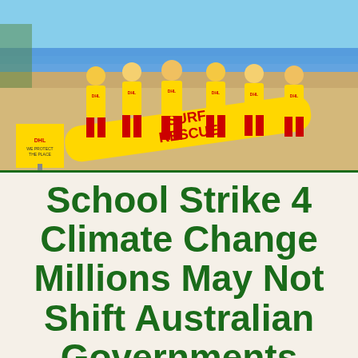[Figure (photo): Group of surf rescue lifeguards in yellow DHL-branded uniforms standing on a beach holding a large yellow surfboard with 'SURF RESCUE' written in red letters. A yellow DHL warning sign is visible on the left.]
School Strike 4 Climate Change Millions May Not Shift Australian Governments Pursu Intergenerational